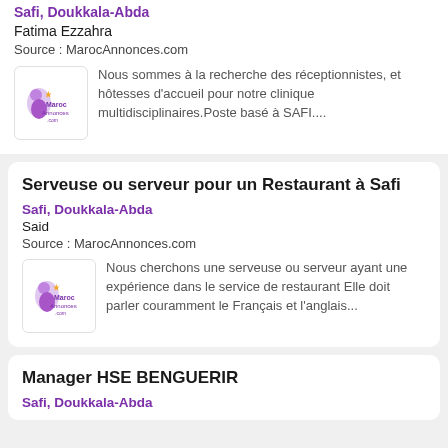Safi, Doukkala-Abda
Fatima Ezzahra
Source : MarocAnnonces.com
Nous sommes à la recherche des réceptionnistes, et hôtesses d'accueil pour notre clinique multidisciplinaires.Poste basé à SAFI....
Serveuse ou serveur pour un Restaurant à Safi
Safi, Doukkala-Abda
Said
Source : MarocAnnonces.com
Nous cherchons une serveuse ou serveur ayant une expérience dans le service de restaurant Elle doit parler couramment le Français et l'anglais...
Manager HSE BENGUERIR
Safi, Doukkala-Abda